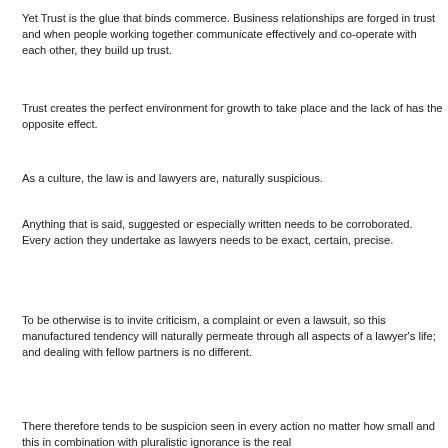Yet Trust is the glue that binds commerce. Business relationships are forged in trust and when people working together communicate effectively and co-operate with each other, they build up trust.
Trust creates the perfect environment for growth to take place and the lack of has the opposite effect.
As a culture, the law is and lawyers are, naturally suspicious.
Anything that is said, suggested or especially written needs to be corroborated. Every action they undertake as lawyers needs to be exact, certain, precise.
To be otherwise is to invite criticism, a complaint or even a lawsuit, so this manufactured tendency will naturally permeate through all aspects of a lawyer's life; and dealing with fellow partners is no different.
There therefore tends to be suspicion seen in every action no matter how small and this in combination with pluralistic ignorance is the real